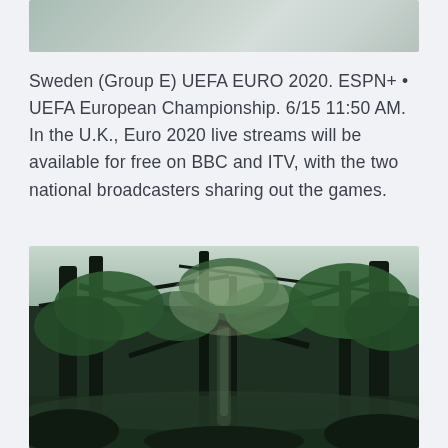[Figure (photo): Partial photo of a person, cropped at the top of the page, light background]
Sweden (Group E) UEFA EURO 2020. ESPN+ • UEFA European Championship. 6/15 11:50 AM. In the U.K., Euro 2020 live streams will be available for free on BBC and ITV, with the two national broadcasters sharing out the games.
[Figure (photo): Forest scene with dark trees, green foliage, misty atmosphere, moody outdoor nature photograph]